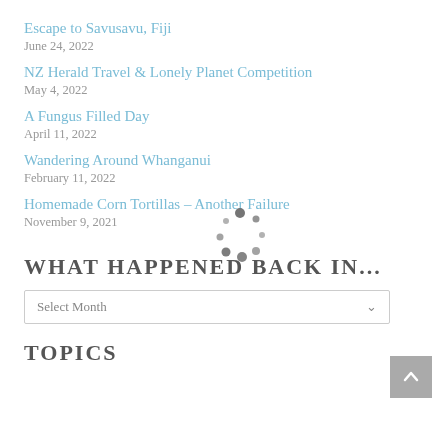Escape to Savusavu, Fiji
June 24, 2022
NZ Herald Travel & Lonely Planet Competition
May 4, 2022
A Fungus Filled Day
April 11, 2022
Wandering Around Whanganui
February 11, 2022
Homemade Corn Tortillas – Another Failure
November 9, 2021
WHAT HAPPENED BACK IN...
Select Month
TOPICS